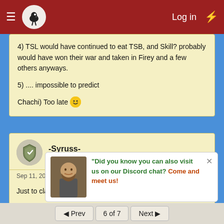Log in
4) TSL would have continued to eat TSB, and Skill? probably would have won their war and taken in Firey and a few others anyways.

5) .... impossible to predict

Chachi) Too late 😀
-Syruss-
Guest
Sep 11, 2012   #120
Just to clarify my first one.

Alliance i mean T... all al...
"Did you know you can also visit us on our Discord chat? Come and meet us!